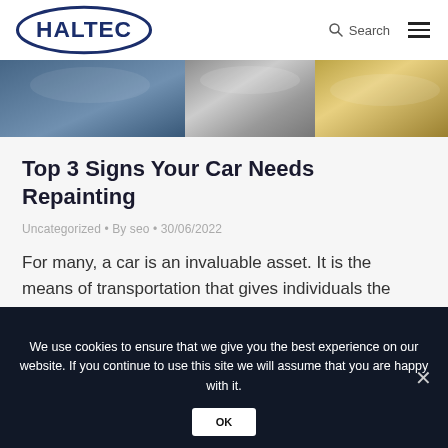[Figure (logo): HALTEC logo in blue oval border with dark blue text]
[Figure (photo): Close-up of shiny car surfaces in blue, silver, and gold colors representing car paint]
Top 3 Signs Your Car Needs Repainting
Uncategorized • By seo • 30/06/2022
For many, a car is an invaluable asset. It is the means of transportation that gives individuals the freedom to come and go as they please. Often, it is a lifeline, enabling
We use cookies to ensure that we give you the best experience on our website. If you continue to use this site we will assume that you are happy with it.